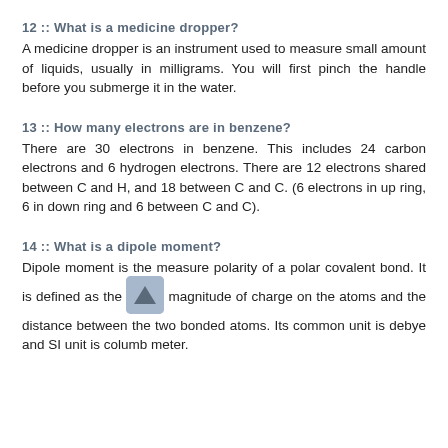12 :: What is a medicine dropper?
A medicine dropper is an instrument used to measure small amount of liquids, usually in milligrams. You will first pinch the handle before you submerge it in the water.
13 :: How many electrons are in benzene?
There are 30 electrons in benzene. This includes 24 carbon electrons and 6 hydrogen electrons. There are 12 electrons shared between C and H, and 18 between C and C. (6 electrons in up ring, 6 in down ring and 6 between C and C).
14 :: What is a dipole moment?
Dipole moment is the measure polarity of a polar covalent bond. It is defined as the product magnitude of charge on the atoms and the distance between the two bonded atoms. Its common unit is debye and SI unit is columb meter.